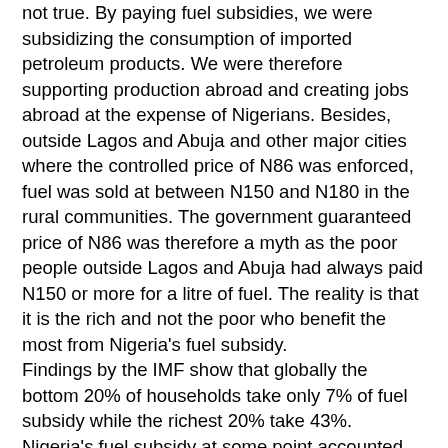not true. By paying fuel subsidies, we were subsidizing the consumption of imported petroleum products. We were therefore supporting production abroad and creating jobs abroad at the expense of Nigerians. Besides, outside Lagos and Abuja and other major cities where the controlled price of N86 was enforced, fuel was sold at between N150 and N180 in the rural communities. The government guaranteed price of N86 was therefore a myth as the poor people outside Lagos and Abuja had always paid N150 or more for a litre of fuel. The reality is that it is the rich and not the poor who benefit the most from Nigeria's fuel subsidy. Findings by the IMF show that globally the bottom 20% of households take only 7% of fuel subsidy while the richest 20% take 43%. Nigeria's fuel subsidy at some point accounted for 30% of total expenditure of the Federal Government and 118% of the capital budget. It also accounted for over 90% of annual oil revenues. Payment of oil subsidies was not only not sustainable, it crowded out spending on core infrastructure